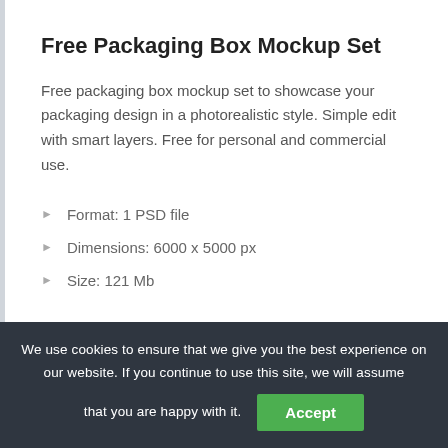Free Packaging Box Mockup Set
Free packaging box mockup set to showcase your packaging design in a photorealistic style. Simple edit with smart layers. Free for personal and commercial use.
Format: 1 PSD file
Dimensions: 6000 x 5000 px
Size: 121 Mb
We use cookies to ensure that we give you the best experience on our website. If you continue to use this site, we will assume that you are happy with it.